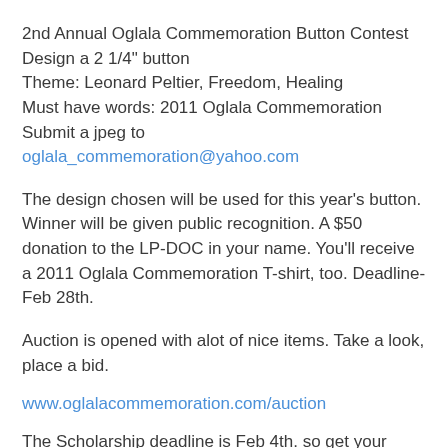2nd Annual Oglala Commemoration Button Contest
Design a 2 1/4" button
Theme: Leonard Peltier, Freedom, Healing
Must have words: 2011 Oglala Commemoration
Submit a jpeg to oglala_commemoration@yahoo.com
The design chosen will be used for this year's button. Winner will be given public recognition. A $50 donation to the LP-DOC in your name. You'll receive a 2011 Oglala Commemoration T-shirt, too. Deadline-Feb 28th.
Auction is opened with alot of nice items. Take a look, place a bid.
www.oglalacommemoration.com/auction
The Scholarship deadline is Feb 4th. so get your applications turned in to the OLC. Applications can be picked up at the financial aid office or off our website.
www.oglalacommemoration.com/scholarship